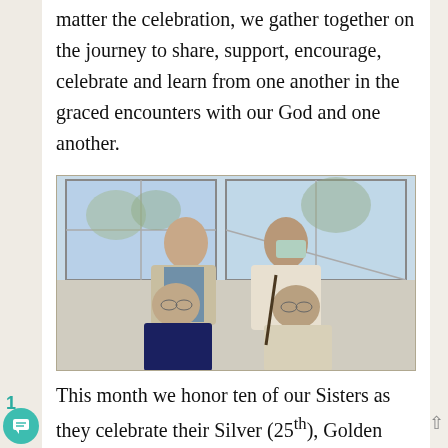matter the celebration, we gather together on the journey to share, support, encourage, celebrate and learn from one another in the graced encounters with our God and one another.
[Figure (photo): Four women gathered at an indoor celebration. Two older women are seated in the front; two younger women stand behind them. One of the standing women wears a teal/blue top with a cardigan, and the other wears a mask and a white cardigan. They appear to be at a community or religious gathering.]
This month we honor ten of our Sisters as they celebrate their Silver (25th), Golden